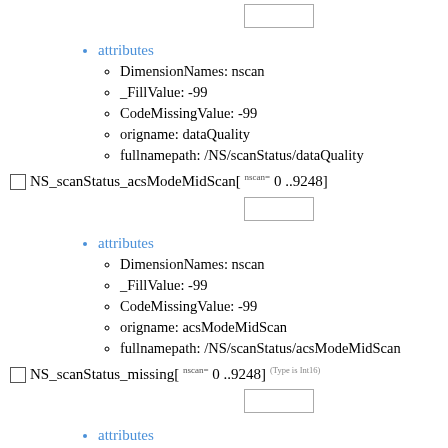[Figure (other): Empty input box (top of page, partially visible)]
attributes
DimensionNames: nscan
_FillValue: -99
CodeMissingValue: -99
origname: dataQuality
fullnamepath: /NS/scanStatus/dataQuality
NS_scanStatus_acsModeMidScan[ nscan= 0 ..9248]
[Figure (other): Empty input box]
attributes
DimensionNames: nscan
_FillValue: -99
CodeMissingValue: -99
origname: acsModeMidScan
fullnamepath: /NS/scanStatus/acsModeMidScan
NS_scanStatus_missing[ nscan= 0 ..9248] (Type is Int16)
[Figure (other): Empty input box]
attributes
DimensionNames: nscan
FillValue: -99